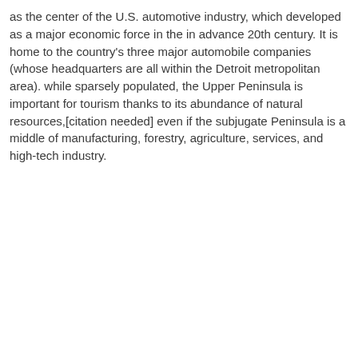as the center of the U.S. automotive industry, which developed as a major economic force in the in advance 20th century. It is home to the country's three major automobile companies (whose headquarters are all within the Detroit metropolitan area). while sparsely populated, the Upper Peninsula is important for tourism thanks to its abundance of natural resources,[citation needed] even if the subjugate Peninsula is a middle of manufacturing, forestry, agriculture, services, and high-tech industry.